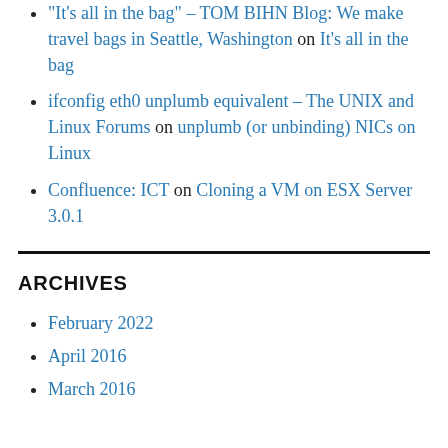"It’s all in the bag" – TOM BIHN Blog: We make travel bags in Seattle, Washington on It’s all in the bag
ifconfig eth0 unplumb equivalent – The UNIX and Linux Forums on unplumb (or unbinding) NICs on Linux
Confluence: ICT on Cloning a VM on ESX Server 3.0.1
ARCHIVES
February 2022
April 2016
March 2016